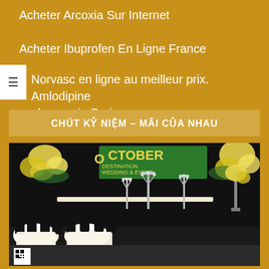Acheter Arcoxia Sur Internet
Acheter Ibuprofen En Ligne France
Norvasc en ligne au meilleur prix. Amlodipine pharmacie Paris
CHÚT KỶ NIỆM – MÃI CỦA NHAU
[Figure (photo): Decorated wedding banquet hall with black and white chair covers, white tablecloths, silver candelabras, and yellow floral arrangements against a dark backdrop with 'OCTOBER' signage]